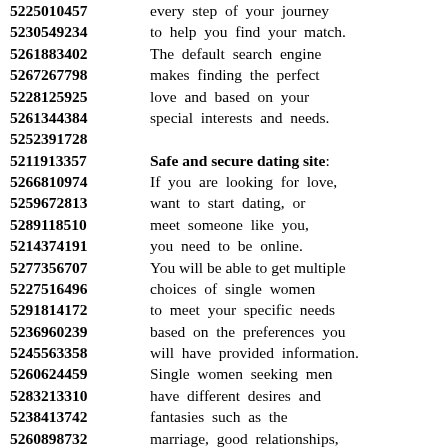5225010457 every step of your journey
5230549234 to help you find your match.
5261883402 The default search engine
5267267798 makes finding the perfect
5228125925 love and based on your
5261344384 special interests and needs.
5252391728
5211913357 Safe and secure dating site:
5266810974 If you are looking for love,
5259672813 want to start dating, or
5289118510 meet someone like you,
5214374191 you need to be online.
5277356707 You will be able to get multiple
5227516496 choices of single women
5291814172 to meet your specific needs
5236960239 based on the preferences you
5245563358 will have provided information.
5260624459 Single women seeking men
5283213310 have different desires and
5238413742 fantasies such as the
5260898732 marriage, good relationships,
5225578184 desire for something special.
5259542112 To provide the best experience,
5288182505 we and our partners use
5257210658 technologies to make sure our
5210681843 custom works as expected